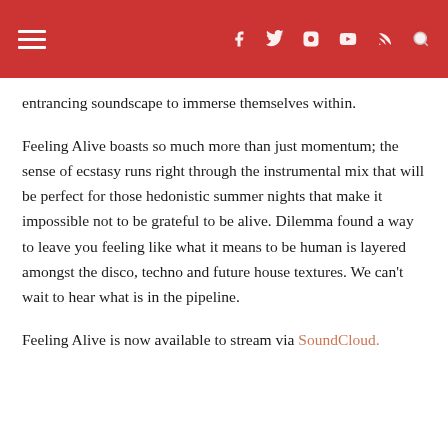≡  f  t  ◎  ▶  ⊳  🔍
entrancing soundscape to immerse themselves within.
Feeling Alive boasts so much more than just momentum; the sense of ecstasy runs right through the instrumental mix that will be perfect for those hedonistic summer nights that make it impossible not to be grateful to be alive. Dilemma found a way to leave you feeling like what it means to be human is layered amongst the disco, techno and future house textures. We can't wait to hear what is in the pipeline.
Feeling Alive is now available to stream via SoundCloud.